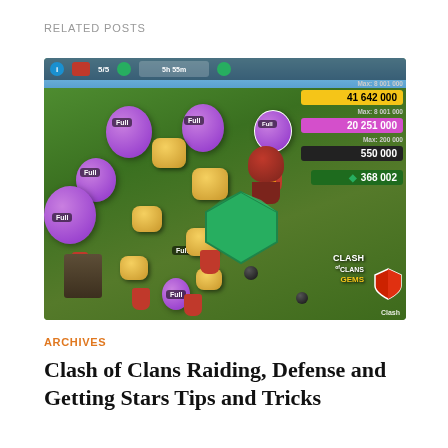RELATED POSTS
[Figure (screenshot): Screenshot of Clash of Clans mobile game showing a village with purple elixir collectors and gold mines labeled 'Full', a Witch character, a large green gem, and HUD showing resources: 41 642 000 gold, 20 251 000 elixir, 550 000 dark elixir, 368 002 gems. Top bar shows 5/5 and 5h 55m. Clash of Clans Gems branding visible.]
ARCHIVES
Clash of Clans Raiding, Defense and Getting Stars Tips and Tricks